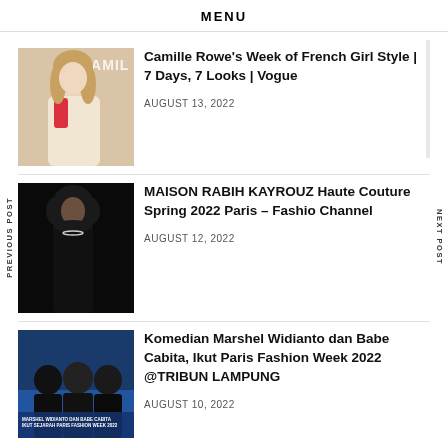MENU
PREVIOUS POST
NEXT POST
[Figure (photo): Photo of Camille Rowe with text overlay 'CAMILLE']
Camille Rowe's Week of French Girl Style | 7 Days, 7 Looks | Vogue
AUGUST 13, 2022
[Figure (photo): Fashion model in black outfit on dark background - Maison Rabih Kayrouz Haute Couture]
MAISON RABIH KAYROUZ Haute Couture Spring 2022 Paris – Fashion Channel
AUGUST 12, 2022
[Figure (photo): Photo of Komedian Marshel Widianto dan Babe Cabita at Paris Fashion Week 2022]
Komedian Marshel Widianto dan Babe Cabita, Ikut Paris Fashion Week 2022 @TRIBUN LAMPUNG
AUGUST 10, 2022